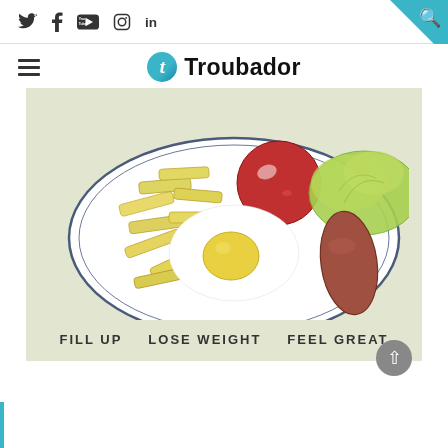Troubador — social nav bar with Twitter, Facebook, YouTube, Instagram, LinkedIn icons and search
[Figure (logo): Troubador logo with italic t in blue circle and bold Troubador wordmark]
[Figure (illustration): Watercolor illustration of a plate with fried egg, chips/fries, tomato, lettuce and sausage on a sage-green background]
FILL UP   LOSE WEIGHT   FEEL GREAT